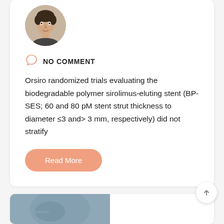[Figure (photo): Circular avatar portrait photo of a young man]
NO COMMENT
Orsiro randomized trials evaluating the biodegradable polymer sirolimus-eluting stent (BP-SES; 60 and 80 pM stent strut thickness to diameter ≤3 and> 3 mm, respectively) did not stratify
Read More
[Figure (photo): Partial view of a grey medical/scientific image at the bottom of the page]